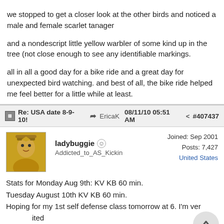we stopped to get a closer look at the other birds and noticed a male and female scarlet tanager
and a nondescript little yellow warbler of some kind up in the tree (not close enough to see any identifiable markings.
all in all a good day for a bike ride and a great day for unexpected bird watching. and best of all, the bike ride helped me feel better for a little while at least.
Re: USA date 8-9-10!   EricaK  08/11/10 05:51 AM   #407437
ladybuggie
Addicted_to_AS_Kickin
Joined: Sep 2001
Posts: 7,427
United States
Stats for Monday Aug 9th: KV KB 60 min.
Tuesday August 10th KV KB 60 min.
Hoping for my 1st self defense class tomorrow at 6. I'm very excited because I can earn my belts.